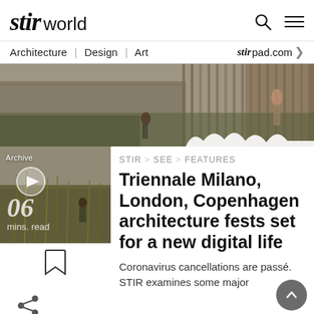stir world | Architecture | Design | Art | stir pad.com
[Figure (photo): Wide hero strip showing a modern wooden building with people outside, in warm tones.]
[Figure (photo): Thumbnail video still of outdoor scene with tall grasses, play button overlay, '06 mins. read' text, and archive label.]
STIR > SEE > FEATURES
Triennale Milano, London, Copenhagen architecture fests set for a new digital life
Coronavirus cancellations are passé. STIR examines some major